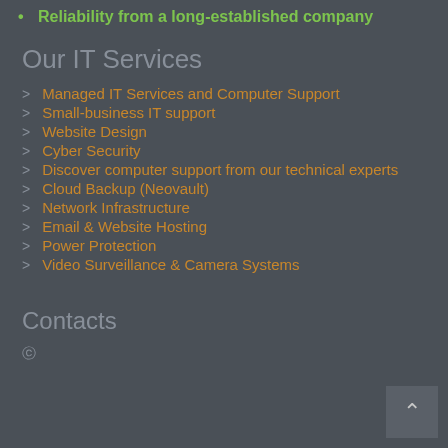Reliability from a long-established company
Our IT Services
Managed IT Services and Computer Support
Small-business IT support
Website Design
Cyber Security
Discover computer support from our technical experts
Cloud Backup (Neovault)
Network Infrastructure
Email & Website Hosting
Power Protection
Video Surveillance & Camera Systems
Contacts